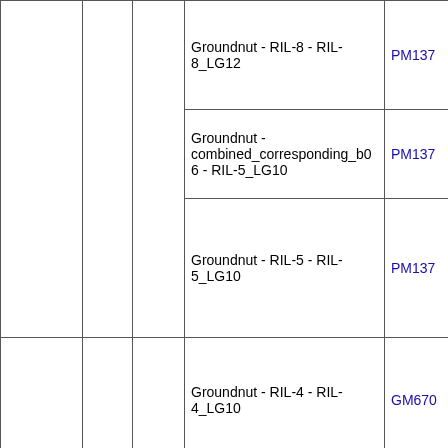| Marker | Type | Position | Linkage Group / Map | Linked Marker |
| --- | --- | --- | --- | --- |
|  |  |  | Groundnut - RIL-8 - RIL-8_LG12 | PM137 |
|  |  |  | Groundnut - combined_corresponding_b06 - RIL-5_LG10 | PM137 |
|  |  |  | Groundnut - RIL-5 - RIL-5_LG10 | PM137 |
| GM670 | SSR | 53.31 | Groundnut - RIL-4 - RIL-4_LG10 | GM670 |
|  |  |  | Groundnut - combined_corresponding_b06 - RIL-4_LG10 | GM670 |
|  |  |  | Groundnut - Consensus_Biotic - LG10 | GM670 |